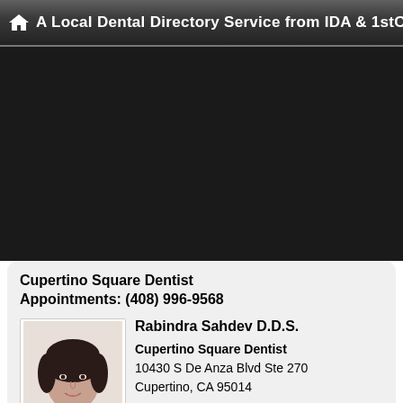A Local Dental Directory Service from IDA & 1stCosmeticDentist
[Figure (photo): Dark background area (navigation/map area above the listing card)]
Cupertino Square Dentist
Appointments: (408) 996-9568
[Figure (photo): Portrait photo of Rabindra Sahdev D.D.S., a woman with dark hair]
Rabindra Sahdev D.D.S.
Cupertino Square Dentist
10430 S De Anza Blvd Ste 270
Cupertino, CA 95014
[Figure (other): Payment method logos: Visa, MasterCard, CareCredit]